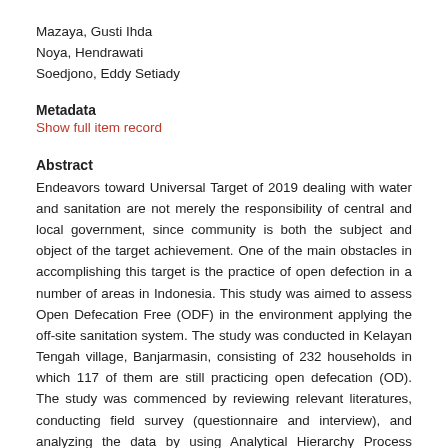Mazaya, Gusti Ihda
Noya, Hendrawati
Soedjono, Eddy Setiady
Metadata
Show full item record
Abstract
Endeavors toward Universal Target of 2019 dealing with water and sanitation are not merely the responsibility of central and local government, since community is both the subject and object of the target achievement. One of the main obstacles in accomplishing this target is the practice of open defection in a number of areas in Indonesia. This study was aimed to assess Open Defecation Free (ODF) in the environment applying the off-site sanitation system. The study was conducted in Kelayan Tengah village, Banjarmasin, consisting of 232 households in which 117 of them are still practicing open defecation (OD). The study was commenced by reviewing relevant literatures, conducting field survey (questionnaire and interview), and analyzing the data by using Analytical Hierarchy Process (AHP). The analysis included the assessment of technical aspect, social cultural aspect, and institution aspect. Questionnaire was fulfilled by 75 respondents, while AHP involved 5 respondents. Action Plans of open defecation free in Kelayan